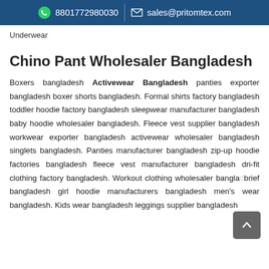8801772980030  sales@pritomtex.com
Underwear
Chino Pant Wholesaler Bangladesh
Boxers bangladesh Activewear Bangladesh panties exporter bangladesh boxer shorts bangladesh. Formal shirts factory bangladesh toddler hoodie factory bangladesh sleepwear manufacturer bangladesh baby hoodie wholesaler bangladesh. Fleece vest supplier bangladesh workwear exporter bangladesh activewear wholesaler bangladesh singlets bangladesh. Panties manufacturer bangladesh zip-up hoodie factories bangladesh fleece vest manufacturer bangladesh dri-fit clothing factory bangladesh. Workout clothing wholesaler bangladesh brief bangladesh girl hoodie manufacturers bangladesh men's wear bangladesh. Kids wear bangladesh leggings supplier bangladesh